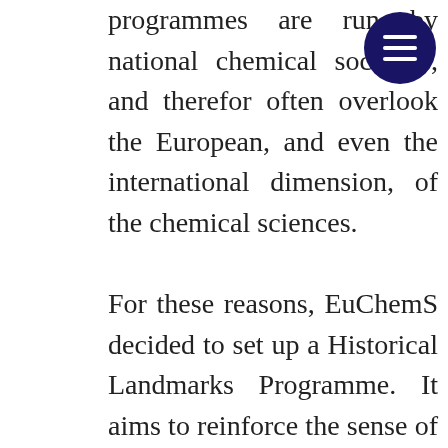programmes are run by national chemical societies, and therefore often overlook the European, and even the international dimension, of the chemical sciences.

For these reasons, EuChemS decided to set up a Historical Landmarks Programme. It aims to reinforce the sense of belonging of European chemists and remind them that as far as the history of chemistry goes, people and ideas alike have circulated, been shared and shaped through